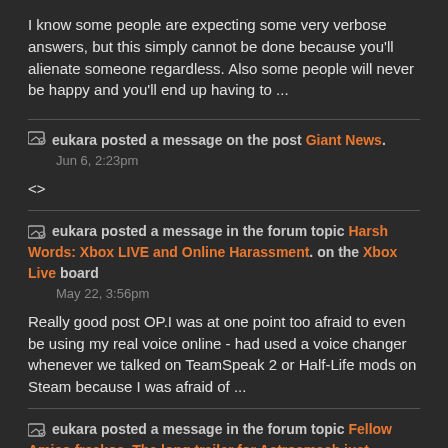I know some people are expecting some very verbose answers, but this simply cannot be done because you'll alienate someone regardless. Also some people will never be happy and you'll end up having to ...
eukara posted a message on the post Giant News. Jun 6, 2:23pm

<>
eukara posted a message in the forum topic Harsh Words: Xbox LIVE and Online Harassment. on the Xbox Live board. May 22, 3:56pm

Really good post OP.I was at one point too afraid to even be using my real voice online - had used a voice changer whenever we talked on TeamSpeak 2 or Half-Life mods on Steam because I was afraid of ...
eukara posted a message in the forum topic Fellow Amico freakos. The long trailer for Astrosmash just dropped and it's kind of hilarious in its own way.. on the Intellivision Amico Forum board. Nov 26, 8:37am